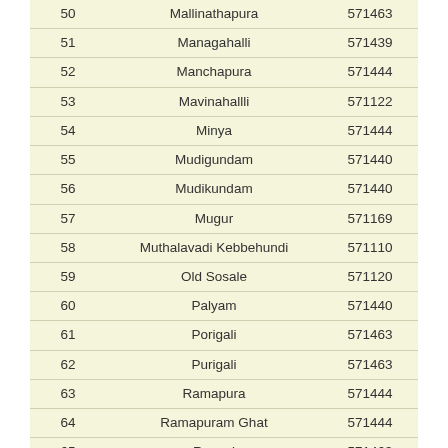| 50 | Mallinathapura | 571463 |
| 51 | Managahalli | 571439 |
| 52 | Manchapura | 571444 |
| 53 | Mavinahallli | 571122 |
| 54 | Minya | 571444 |
| 55 | Mudigundam | 571440 |
| 56 | Mudikundam | 571440 |
| 57 | Mugur | 571169 |
| 58 | Muthalavadi Kebbehundi | 571110 |
| 59 | Old Sosale | 571120 |
| 60 | Palyam | 571440 |
| 61 | Porigali | 571463 |
| 62 | Purigali | 571463 |
| 63 | Ramapura | 571444 |
| 64 | Ramapuram Ghat | 571444 |
| 65 | Ravani | 571463 |
| 66 | Saggiam | 571439 |
| 67 | Santhemarahalli | 571115 |
| 68 | Santhemaranahalli | 571115 |
| 69 | Sargur Kollegal | 571440 |
| 70 | Sathegala | 571440 |
| 71 | Shivanasamudram | 571437 |
| 72 | Siddainapura | 571440 |
| 73 | Southern Extn | 571440 |
| 74 | Sulerinalyam | 571439 |